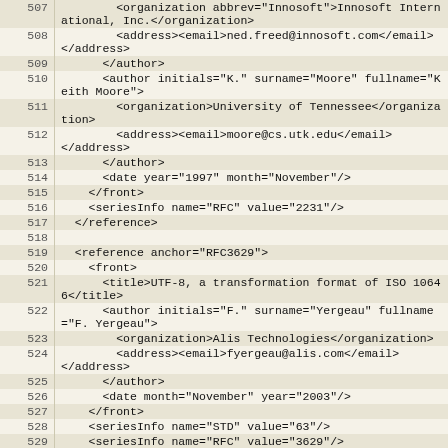[Figure (screenshot): Source code listing with line numbers 507-531, showing XML markup for RFC references including authors, organizations, email addresses, dates, and series info elements.]